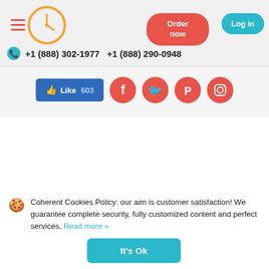Navigation header with hamburger menu, clock icon, Order now button, Log in button, phone numbers +1 (888) 302-1977 and +1 (888) 290-0948
[Figure (screenshot): Like 603 Facebook button and social media icons: Facebook, Twitter, Pinterest, Instagram]
Coherent Cookies Policy: our aim is customer satisfaction! We guarantee complete security, fully customized content and perfect services. Read more »
It's Ok